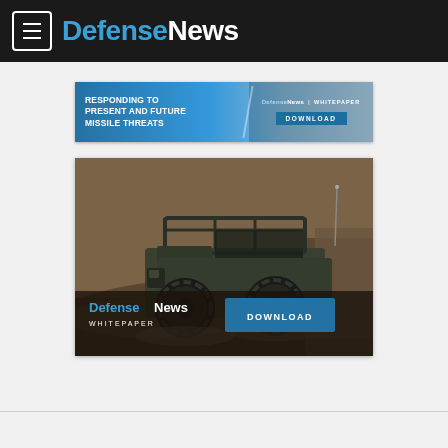DefenseNews
[Figure (screenshot): DefenseNews whitepaper banner ad: RESPONDING TO PRESENT AND FUTURE MISSILE THREATS with download button]
[Figure (photo): DefenseNews whitepaper advertisement featuring a military off-road vehicle (ILTV) driving through desert terrain with DOWNLOAD button overlay]